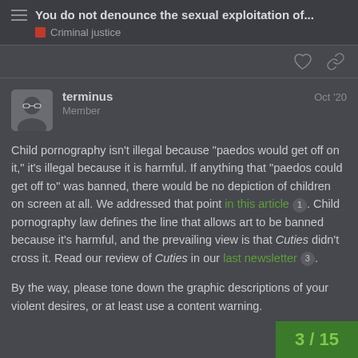You do not denounce the sexual exploitation of...
Criminal justice
terminus   Member   Oct '20
Child pornography isn't illegal because "paedos would get off on it," it's illegal because it is harmful. If anything that "paedos could get off to" was banned, there would be no depiction of children on screen at all. We addressed that point in this article 1 . Child pornography law defines the line that allows art to be banned because it's harmful, and the prevailing view is that Cuties didn't cross it. Read our review of Cuties in our last newsletter 3 .
By the way, please tone down the graphic descriptions of your violent desires, or at least use a content warning.
3 / 15